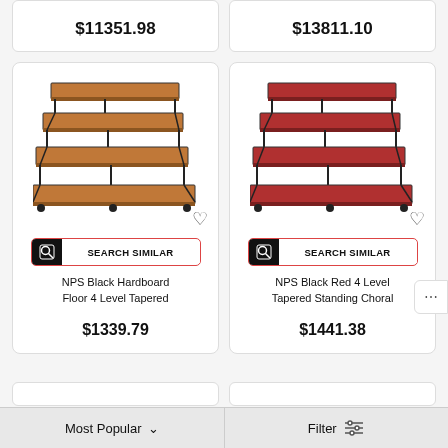$11351.98
$13811.10
[Figure (photo): NPS Black Hardboard 4-level tapered choral riser with brown/tan finish]
[Figure (photo): NPS Black Red 4-level tapered standing choral riser with red finish]
NPS Black Hardboard Floor 4 Level Tapered
$1339.79
NPS Black Red 4 Level Tapered Standing Choral
$1441.38
Most Popular
Filter